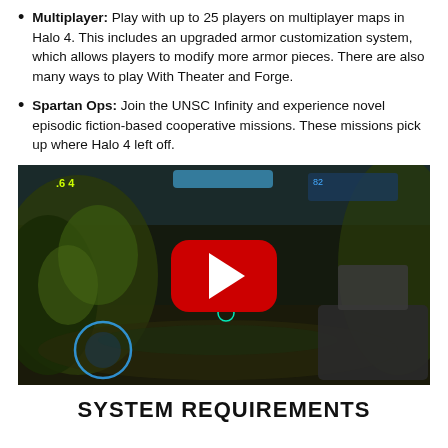Multiplayer: Play with up to 25 players on multiplayer maps in Halo 4. This includes an upgraded armor customization system, which allows players to modify more armor pieces. There are also many ways to play With Theater and Forge.
Spartan Ops: Join the UNSC Infinity and experience novel episodic fiction-based cooperative missions. These missions pick up where Halo 4 left off.
[Figure (screenshot): Screenshot from Halo 4 game showing first-person perspective in a jungle-like alien environment with a YouTube play button overlay in the center.]
SYSTEM REQUIREMENTS